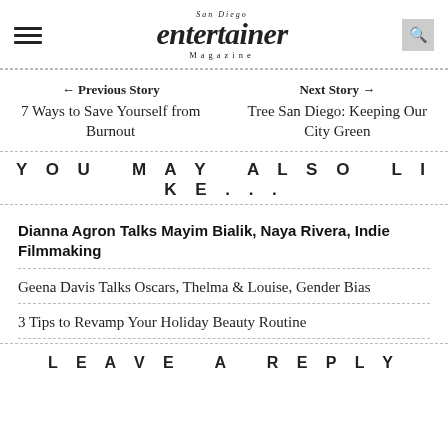San Diego Entertainer Magazine
← Previous Story
7 Ways to Save Yourself from Burnout
Next Story →
Tree San Diego: Keeping Our City Green
YOU MAY ALSO LIKE...
Dianna Agron Talks Mayim Bialik, Naya Rivera, Indie Filmmaking
Geena Davis Talks Oscars, Thelma & Louise, Gender Bias
3 Tips to Revamp Your Holiday Beauty Routine
LEAVE A REPLY